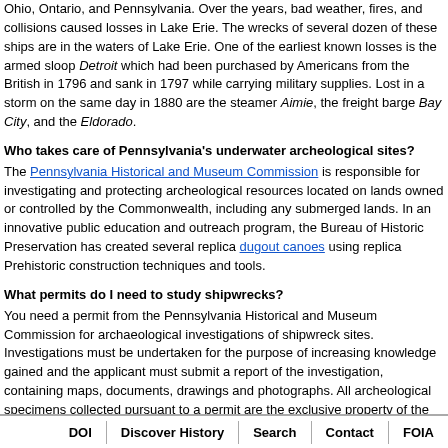Ohio, Ontario, and Pennsylvania. Over the years, bad weather, fires, and collisions caused losses in Lake Erie. The wrecks of several dozen of these ships are in the waters of Lake Erie. One of the earliest known losses is the armed sloop Detroit which had been purchased by Americans from the British in 1796 and sank in 1797 while carrying military supplies. Lost in a storm on the same day in 1880 are the steamer Aimie, the freight barge Bay City, and the Eldorado.
Who takes care of Pennsylvania’s underwater archeological sites?
The Pennsylvania Historical and Museum Commission is responsible for investigating and protecting archeological resources located on lands owned or controlled by the Commonwealth, including any submerged lands. In an innovative public education and outreach program, the Bureau of Historic Preservation has created several replica dugout canoes using replica Prehistoric construction techniques and tools.
What permits do I need to study shipwrecks?
You need a permit from the Pennsylvania Historical and Museum Commission for archaeological investigations of shipwreck sites. Investigations must be undertaken for the purpose of increasing knowledge gained and the applicant must submit a report of the investigation, containing maps, documents, drawings and photographs. All archeological specimens collected pursuant to a permit are the exclusive property of the Commonwealth.
What laws concern underwater archeology in Pennsylvania?
Pennsylvania’s Historic Preservation Act is codified in Title 37 of the Pennsylvania Consolidated Statutes, Chapter 5, §501 et seq. Other laws relating to the Commonwealth’s historical and museum activities are in Chapter 1, §101 et seq. of Title 37.
These laws direct the Commonwealth to preserve and protect its irreplaceable archeological and historic heritage for the benefit of all the people to promote the public health, prosperity and general welfare, and also direct the Commonwealth to conduct a comprehensive historic preservation program for the use, enjoyment, education and inspiration of all the people, including future generations.
DOI | Discover History | Search | Contact | FOIA